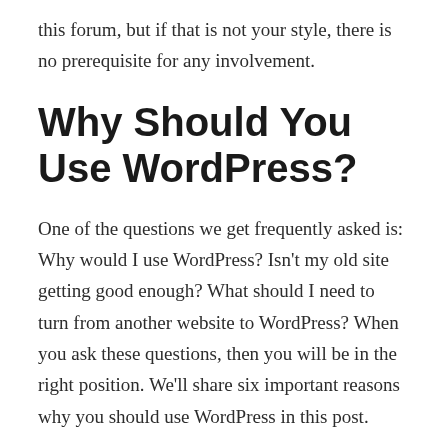this forum, but if that is not your style, there is no prerequisite for any involvement.
Why Should You Use WordPress?
One of the questions we get frequently asked is: Why would I use WordPress? Isn't my old site getting good enough? What should I need to turn from another website to WordPress? When you ask these questions, then you will be in the right position. We'll share six important reasons why you should use WordPress in this post.
WordPress CMS System Is F...